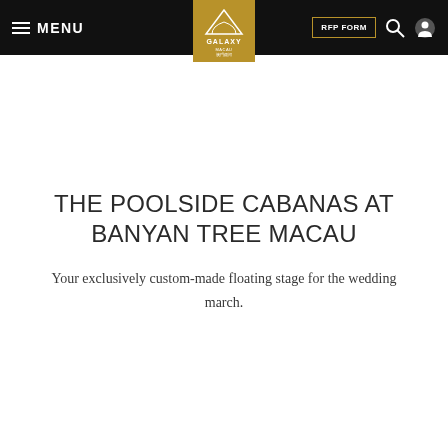MENU | GALAXY MACAU logo | RFP FORM | search | account
THE POOLSIDE CABANAS AT BANYAN TREE MACAU
Your exclusively custom-made floating stage for the wedding march.